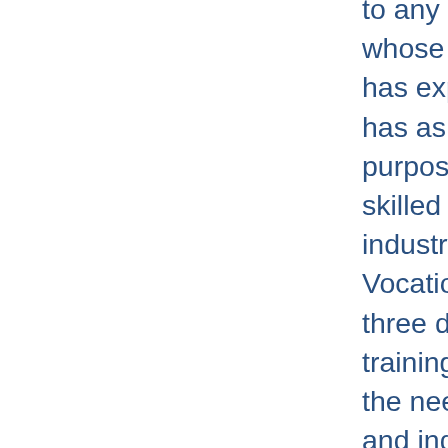to any returning student whose governing catalog has expired. The school has as its avowed purpose the training of skilled hands for industry. Salt Lake Area Vocational School offers three distinct types of training in order to meet the needs of workers and industry. Depending upon the immediate and projected needs of